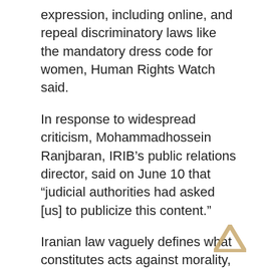expression, including online, and repeal discriminatory laws like the mandatory dress code for women, Human Rights Watch said.
In response to widespread criticism, Mohammadhossein Ranjbaran, IRIB's public relations director, said on June 10 that “judicial authorities had asked [us] to publicize this content.”
Iranian law vaguely defines what constitutes acts against morality, and authorities have long censored art, music, and other forms of cultural expression, as well as prosecuted hundreds of people for such acts. These laws often disproportionally target women and sexual minorities. Since 2016, Iran’s Revolutionary Guards have arrested and interrogated several fashion bloggers, many of them women, who have used Instagram to promote their businesses. Many of